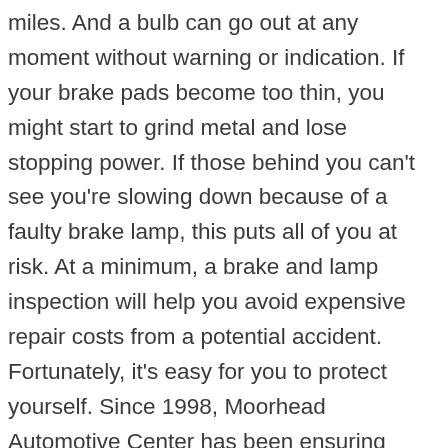miles. And a bulb can go out at any moment without warning or indication. If your brake pads become too thin, you might start to grind metal and lose stopping power. If those behind you can't see you're slowing down because of a faulty brake lamp, this puts all of you at risk. At a minimum, a brake and lamp inspection will help you avoid expensive repair costs from a potential accident. Fortunately, it's easy for you to protect yourself. Since 1998, Moorhead Automotive Center has been ensuring safety for drivers across Fairfield and US with a precise brake and lamp inspection. If any corrective action is necessary, we stand behind our work with a 2/24,000 mile warranty. Keep your vehicle in top shape with a